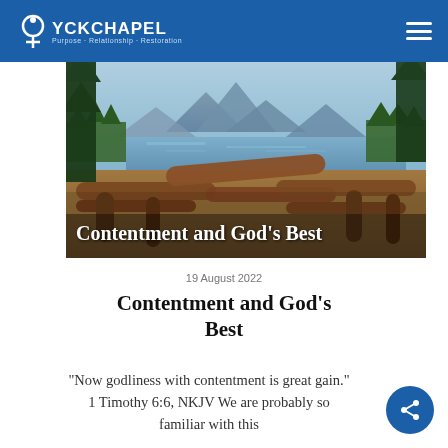YCK CHAPEL
[Figure (photo): Outdoor lakeside scene with wooden log bench in foreground, calm lake reflecting mountains and pine trees in background, with text overlay 'Contentment and God's Best']
19 August 2022
Contentment and God's Best
"Now godliness with contentment is great gain." 1 Timothy 6:6, NKJV We are probably so familiar with this